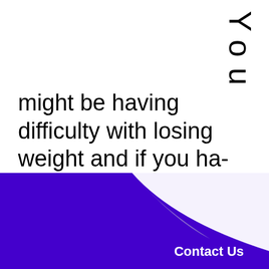You
might be having difficulty with losing weight and if you ha- diabetes, it can be even ha-
[Figure (illustration): Page curl effect in bottom-right corner with purple/blue background behind, and a 'Contact Us' button label in white bold text on the purple section]
Contact Us